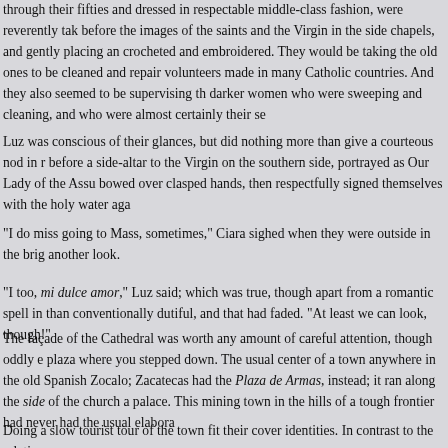through their fifties and dressed in respectable middle-class fashion, were reverently tak before the images of the saints and the Virgin in the side chapels, and gently placing an crocheted and embroidered. They would be taking the old ones to be cleaned and repai volunteers made in many Catholic countries. And they also seemed to be supervising th darker women who were sweeping and cleaning, and who were almost certainly their se
Luz was conscious of their glances, but did nothing more than give a courteous nod in before a side-altar to the Virgin on the southern side, portrayed as Our Lady of the Assu bowed over clasped hands, then respectfully signed themselves with the holy water aga
"I do miss going to Mass, sometimes," Ciara sighed when they were outside in the brig another look.
"I too, mi dulce amor," Luz said; which was true, though apart from a romantic spell in than conventionally dutiful, and that had faded. "At least we can look, though!"
The façade of the Cathedral was worth any amount of careful attention, though oddly e plaza where you stepped down. The usual center of a town anywhere in the old Spanish Zocalo; Zacatecas had the Plaza de Armas, instead; it ran along the side of the church a palace. This mining town in the hills of a tough frontier had never had the usual elabora
Doing a slow tourist tour of the town fit their cover identities. In contrast to the relative